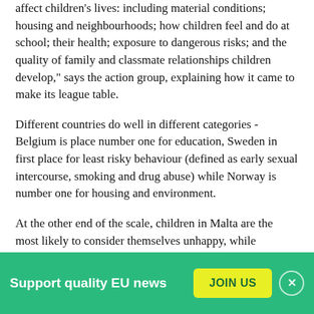affect children's lives: including material conditions; housing and neighbourhoods; how children feel and do at school; their health; exposure to dangerous risks; and the quality of family and classmate relationships children develop," says the action group, explaining how it came to make its league table.
Different countries do well in different categories - Belgium is place number one for education, Sweden in first place for least risky behaviour (defined as early sexual intercourse, smoking and drug abuse) while Norway is number one for housing and environment.
At the other end of the scale, children in Malta are the most likely to consider themselves unhappy, while
Support quality EU news
JOIN US